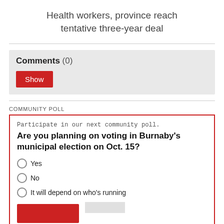Health workers, province reach tentative three-year deal
Comments (0)
Show
COMMUNITY POLL
Participate in our next community poll.
Are you planning on voting in Burnaby's municipal election on Oct. 15?
Yes
No
It will depend on who's running